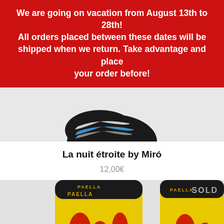We are going on vacation from August 13th to 28th! All orders placed between these dates will be shipped when we return. Take advantage and place your order before!
[Figure (photo): Close-up of a black sock with blue and white stripes, partially visible from bottom of red banner area]
La nuit étroite by Miró
12,00€
[Figure (photo): Two legs wearing yellow PAOLLA branded socks with colorful design including red and green patterns, black cuff with PAOLLA text]
SOLD
Translate »